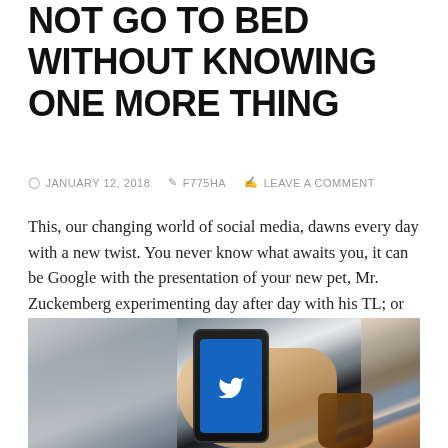NOT GO TO BED WITHOUT KNOWING ONE MORE THING
JANUARY 12, 2018   F775HA   LEAVE A COMMENT
This, our changing world of social media, dawns every day with a new twist. You never know what awaits you, it can be Google with the presentation of your new pet, Mr. Zuckemberg experimenting day after day with his TL; or the birth of another new social network that comes to saturate an increasingly competitive market … what will be next? You will never know that, but better not to be caught by surprise:
[Figure (photo): A hand holding a smartphone displaying the Twitter app (blue bird logo), with a mug in the background on a table.]